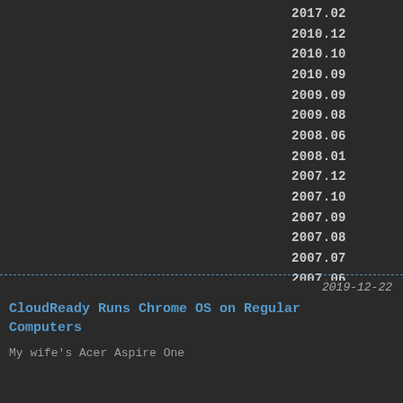2017.02
2010.12
2010.10
2010.09
2009.09
2009.08
2008.06
2008.01
2007.12
2007.10
2007.09
2007.08
2007.07
2007.06
RSS Feed
2019-12-22
CloudReady Runs Chrome OS on Regular Computers
My wife's Acer Aspire One